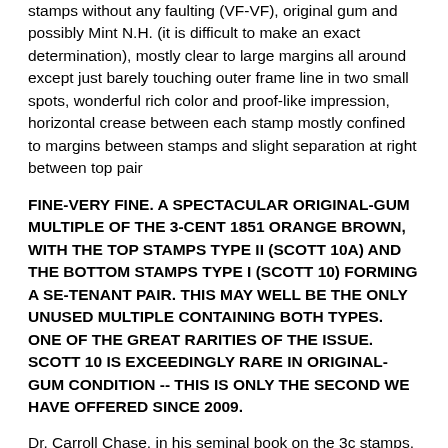stamps without any faulting (VF-VF), original gum and possibly Mint N.H. (it is difficult to make an exact determination), mostly clear to large margins all around except just barely touching outer frame line in two small spots, wonderful rich color and proof-like impression, horizontal crease between each stamp mostly confined to margins between stamps and slight separation at right between top pair
FINE-VERY FINE. A SPECTACULAR ORIGINAL-GUM MULTIPLE OF THE 3-CENT 1851 ORANGE BROWN, WITH THE TOP STAMPS TYPE II (SCOTT 10A) AND THE BOTTOM STAMPS TYPE I (SCOTT 10) FORMING A SE-TENANT PAIR. THIS MAY WELL BE THE ONLY UNUSED MULTIPLE CONTAINING BOTH TYPES. ONE OF THE GREAT RARITIES OF THE ISSUE. SCOTT 10 IS EXCEEDINGLY RARE IN ORIGINAL-GUM CONDITION -- THIS IS ONLY THE SECOND WE HAVE OFFERED SINCE 2009.
Dr. Carroll Chase, in his seminal book on the 3c stamps, (pp. 80-81), notes that Type I stamps are defined as having outer framelines on all sides. It is known in two different sub-types – with no inner framelines (now Scott 10 or 11), and with inner framelines at either left